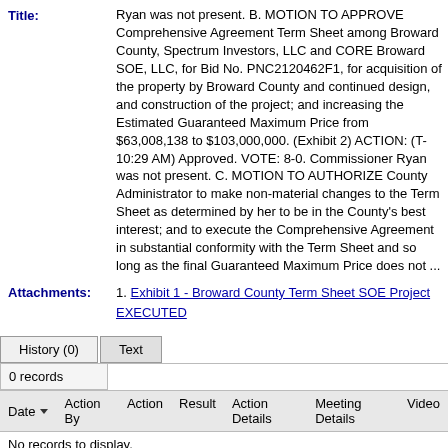Ryan was not present. B. MOTION TO APPROVE Comprehensive Agreement Term Sheet among Broward County, Spectrum Investors, LLC and CORE Broward SOE, LLC, for Bid No. PNC2120462F1, for acquisition of the property by Broward County and continued design, and construction of the project; and increasing the Estimated Guaranteed Maximum Price from $63,008,138 to $103,000,000. (Exhibit 2) ACTION: (T-10:29 AM) Approved. VOTE: 8-0. Commissioner Ryan was not present. C. MOTION TO AUTHORIZE County Administrator to make non-material changes to the Term Sheet as determined by her to be in the County's best interest; and to execute the Comprehensive Agreement in substantial conformity with the Term Sheet and so long as the final Guaranteed Maximum Price does not ...
Title:
Attachments:
1. Exhibit 1 - Broward County Term Sheet SOE Project EXECUTED
| Date | Action By | Action | Result | Action Details | Meeting Details | Video |
| --- | --- | --- | --- | --- | --- | --- |
| No records to display. |